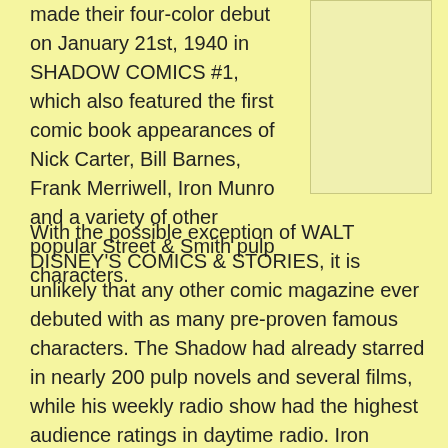made their four-color debut on January 21st, 1940 in SHADOW COMICS #1, which also featured the first comic book appearances of Nick Carter, Bill Barnes, Frank Merriwell, Iron Munro and a variety of other popular Street & Smith pulp characters.
[Figure (illustration): Yellow/cream colored rectangular image placeholder]
With the possible exception of WALT DISNEY'S COMICS & STORIES, it is unlikely that any other comic magazine ever debuted with as many pre-proven famous characters. The Shadow had already starred in nearly 200 pulp novels and several films, while his weekly radio show had the highest audience ratings in daytime radio. Iron Munro was based